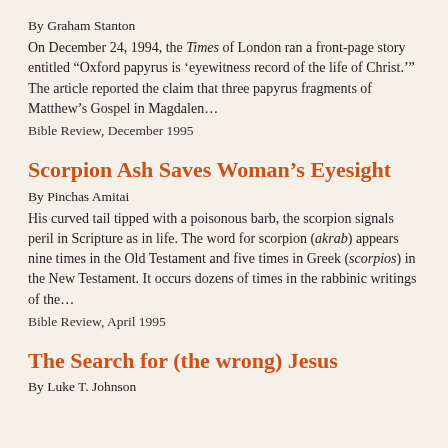By Graham Stanton
On December 24, 1994, the Times of London ran a front-page story entitled “Oxford papyrus is ‘eyewitness record of the life of Christ.’” The article reported the claim that three papyrus fragments of Matthew’s Gospel in Magdalen…
Bible Review, December 1995
Scorpion Ash Saves Woman’s Eyesight
By Pinchas Amitai
His curved tail tipped with a poisonous barb, the scorpion signals peril in Scripture as in life. The word for scorpion (akrab) appears nine times in the Old Testament and five times in Greek (scorpios) in the New Testament. It occurs dozens of times in the rabbinic writings of the…
Bible Review, April 1995
The Search for (the wrong) Jesus
By Luke T. Johnson